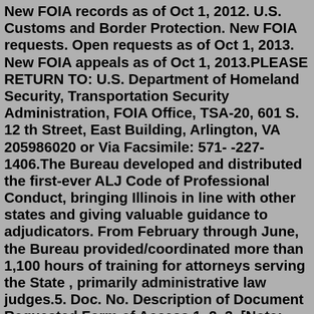New FOIA records as of Oct 1, 2012. U.S. Customs and Border Protection. New FOIA requests. Open requests as of Oct 1, 2013. New FOIA appeals as of Oct 1, 2013.PLEASE RETURN TO: U.S. Department of Homeland Security, Transportation Security Administration, FOIA Office, TSA-20, 601 S. 12 th Street, East Building, Arlington, VA 205986020 or Via Facsimile: 571- -227-1406.The Bureau developed and distributed the first-ever ALJ Code of Professional Conduct, bringing Illinois in line with other states and giving valuable guidance to adjudicators. From February through June, the Bureau provided/coordinated more than 1,100 hours of training for attorneys serving the State , primarily administrative law judges.5. Doc. No. Description of Document Requested Form of Access 1. 2. 3. [Note: Applicants shall identify the document(s), or provide sufficient information to enable an officer/employee of the public authority who is familiar with the relevant documents, to identify the documents, to identify the document(s) with reasonable effort.Jan